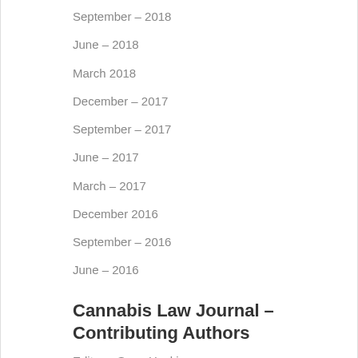September – 2018
June – 2018
March 2018
December – 2017
September – 2017
June – 2017
March – 2017
December 2016
September – 2016
June – 2016
Cannabis Law Journal – Contributing Authors
Editor – Sean Hocking